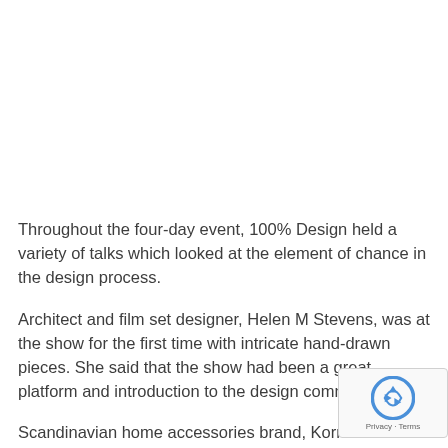Throughout the four-day event, 100% Design held a variety of talks which looked at the element of chance in the design process.
Architect and film set designer, Helen M Stevens, was at the show for the first time with intricate hand-drawn pieces. She said that the show had been a great platform and introduction to the design community.
Scandinavian home accessories brand, Korridor